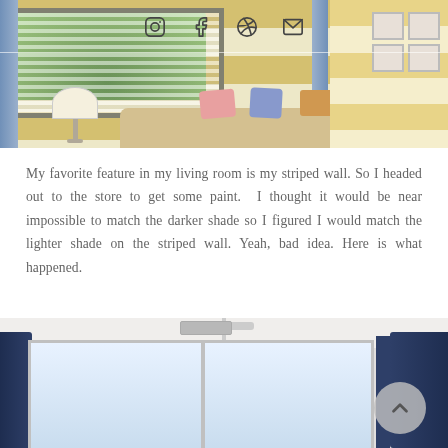[Figure (photo): Interior living room photo with yellow striped walls, windows with blinds and blue floral curtains, a sofa with pillows, and white gallery frames on the right wall. Social media icons (Instagram, Facebook, Pinterest, Email) overlaid at top center.]
My favorite feature in my living room is my striped wall. So I headed out to the store to get some paint. I thought it would be near impossible to match the darker shade so I figured I would match the lighter shade on the striped wall. Yeah, bad idea. Here is what happened.
[Figure (photo): Interior room photo showing white walls with dark navy blue curtains on both sides, large windows letting in bright light, ceiling fan visible at top, and a back-to-top chevron button overlay on the right.]